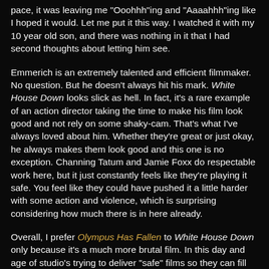pace, it was leaving me "Ooohhh"ing and "Aaaahhh"ing like I hoped it would. Let me put it this way. I watched it with my 10 year old son, and there was nothing in it that I had second thoughts about letting him see.
Emmerich is an extremely talented and efficient filmmaker. No question. But he doesn't always hit his mark. White House Down looks slick as hell. In fact, it's a rare example of an action director taking the time to make his film look good and not rely on some shaky-cam. That's what I've always loved about him. Whether they're great or just okay, he always makes them look good and this one is no exception. Channing Tatum and Jamie Foxx do respectable work here, but it just constantly feels like they're playing it safe. You feel like they could have pushed it a little harder with some action and violence, which is surprising considering how much there is in here already.
Overall, I prefer Olympus Has Fallen to White House Down only because it's a much more brutal film. In this day and age of studio's trying to deliver "safe" films so they can fill the seats, brutal is a rare thing to come by and a type of film